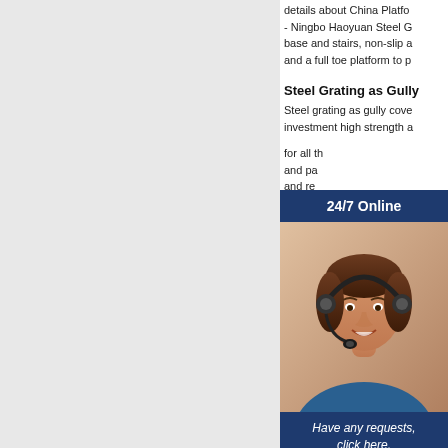details about China Platfo- Ningbo Haoyuan Steel G base and stairs, non-slip a and a full toe platform to p
Steel Grating as Gully
Steel grating as gully cove investment high strength a
[Figure (photo): Customer support agent photo with 24/7 Online header, chat message 'Have any requests, click here.' and Quotation button]
for all th and pa and re 1 Carb
light or such as item is addres G323/3 Galvan Use Va
Find details about China G From Hebei Jiuwang - Heb